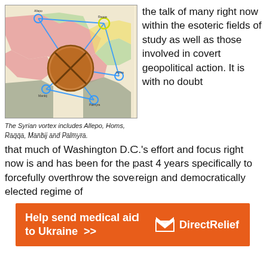[Figure (map): A map of Syria showing the Syrian vortex with cities including Allepo, Homs, Raqqa, Manbij and Palmyra, connected by blue lines with a large circular emblem/seal overlay in the center.]
The Syrian vortex includes Allepo, Homs, Raqqa, Manbij and Palmyra.
the talk of many right now within the esoteric fields of study as well as those involved in covert geopolitical action. It is with no doubt that much of Washington D.C.'s effort and focus right now is and has been for the past 4 years specifically to forcefully overthrow the sovereign and democratically elected regime of
[Figure (infographic): Orange advertisement banner reading 'Help send medical aid to Ukraine >>' with Direct Relief logo on the right.]